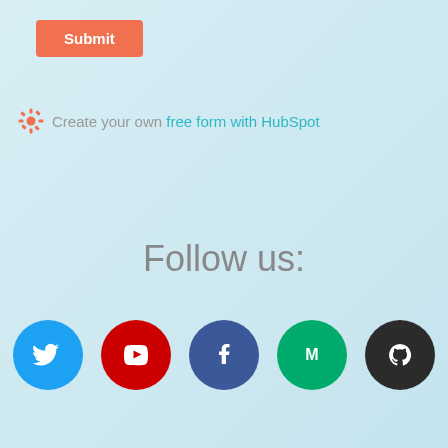[Figure (other): Orange Submit button at top-left]
Create your own free form with HubSpot
Follow us:
[Figure (other): Row of 5 social media icons: Twitter, YouTube, Facebook, Medium, GitHub]